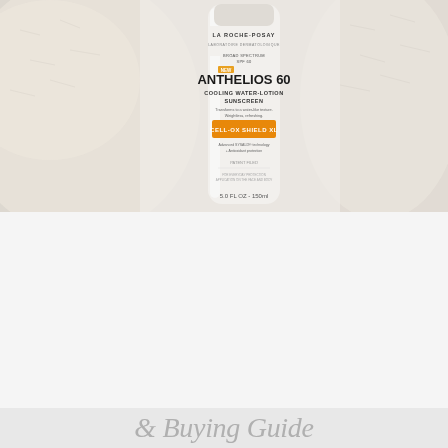[Figure (photo): A white tube of La Roche-Posay Anthelios 60 Cooling Water-Lotion Sunscreen (5.0 FL OZ / 150ml) standing upright against a fuzzy white/cream textured fabric background. The tube features an orange/gold Cell-Ox Shield badge.]
The Best Sunscreens/Sunblocks for Oily Acne-Prone Skin: Reviews & Buying Guide